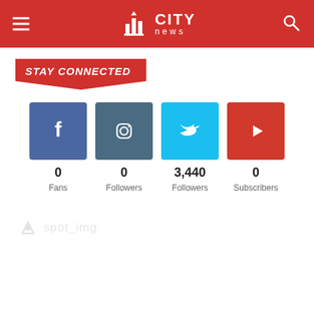CITY news
STAY CONNECTED
[Figure (infographic): Social media follow counts: Facebook 0 Fans, Instagram 0 Followers, Twitter 3,440 Followers, YouTube 0 Subscribers]
[Figure (logo): spot.img logo/badge in light gray]